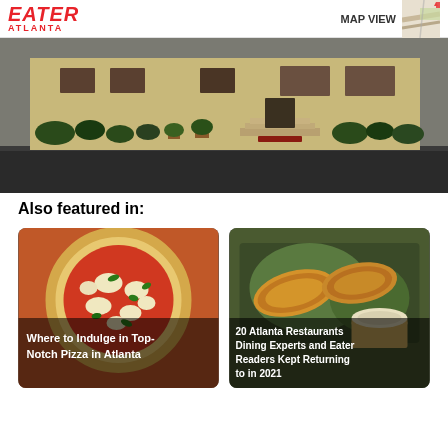EATER ATLANTA | MAP VIEW
[Figure (photo): Exterior building photo showing a beige/tan building facade with steps, plants and shrubs along the front, and a dark asphalt road in the foreground]
Also featured in:
[Figure (photo): Card image of a margherita pizza with red tomato sauce, white mozzarella, and green basil toppings with caption: Where to Indulge in Top-Notch Pizza in Atlanta]
Where to Indulge in Top-Notch Pizza in Atlanta
[Figure (photo): Card image of golden croissants and a cup of drink in a takeout box with caption: 20 Atlanta Restaurants Dining Experts and Eater Readers Kept Returning to in 2021]
20 Atlanta Restaurants Dining Experts and Eater Readers Kept Returning to in 2021